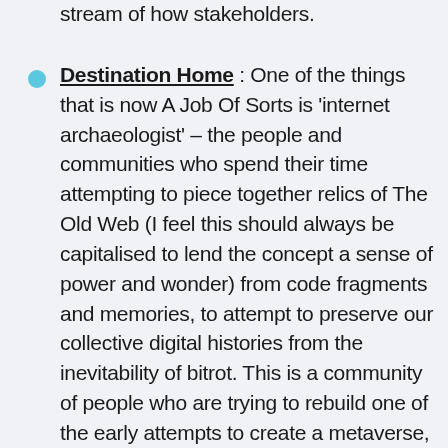stream of how stakeholders.
Destination Home : One of the things that is now A Job Of Sorts is ‘internet archaeologist’ – the people and communities who spend their time attempting to piece together relics of The Old Web (I feel this should always be capitalised to lend the concept a sense of power and wonder) from code fragments and memories, to attempt to preserve our collective digital histories from the inevitability of bitrot. This is a community of people who are trying to rebuild one of the early attempts to create a metaverse, the sadly-unlamented PlayStation Home. You may not recall this, but when the PS3 launched it came with a Home Screen and